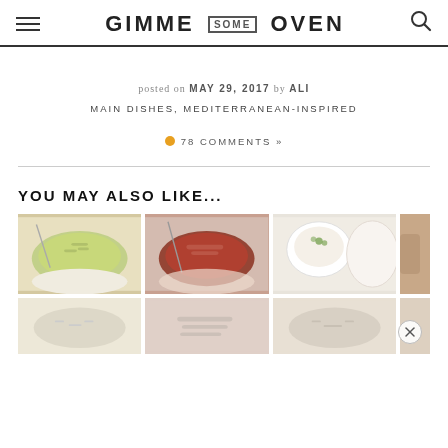GIMME SOME OVEN
posted on MAY 29, 2017 by ALI
MAIN DISHES, MEDITERRANEAN-INSPIRED
● 78 COMMENTS »
YOU MAY ALSO LIKE...
[Figure (photo): Grid of food dish photos showing soup, pasta, and bowl dishes]
[Figure (photo): Close button (X) overlay on bottom right of image grid]